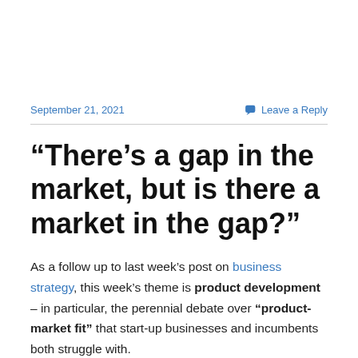September 21, 2021   Leave a Reply
“There’s a gap in the market, but is there a market in the gap?”
As a follow up to last week’s post on business strategy, this week’s theme is product development – in particular, the perennial debate over “product-market fit” that start-up businesses and incumbents both struggle with.